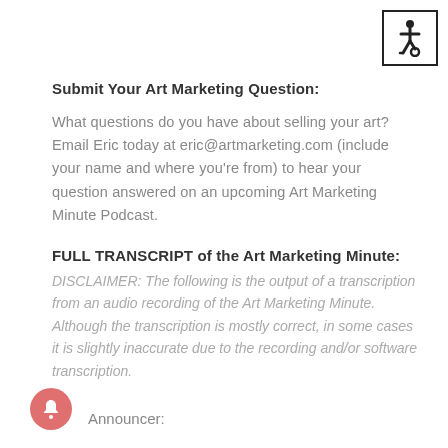[Figure (illustration): Accessibility/wheelchair icon in a bordered square, top-right corner]
Submit Your Art Marketing Question:
What questions do you have about selling your art? Email Eric today at eric@artmarketing.com (include your name and where you're from) to hear your question answered on an upcoming Art Marketing Minute Podcast.
FULL TRANSCRIPT of the Art Marketing Minute:
DISCLAIMER: The following is the output of a transcription from an audio recording of the Art Marketing Minute. Although the transcription is mostly correct, in some cases it is slightly inaccurate due to the recording and/or software transcription.
[Figure (illustration): Red/pink circular notification bell icon, bottom-left]
Announcer: